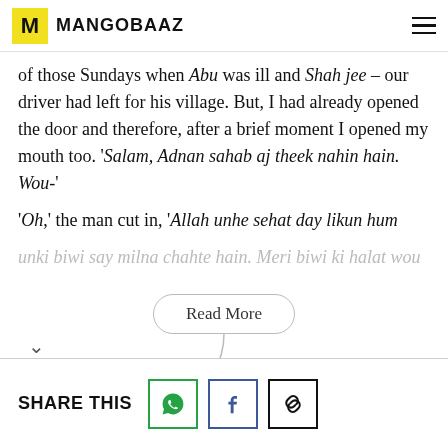MANGOBAAZ
of those Sundays when Abu was ill and Shah jee – our driver had left for his village. But, I had already opened the door and therefore, after a brief moment I opened my mouth too. 'Salam, Adnan sahab aj theek nahin hain. Wou-'
'Oh,' the man cut in, 'Allah unhe sehat day likun hum unki biwi say milna chahte hain. Meri biwi ki halat wou
Read More
SHARE THIS
#ABU'S JINNS
#ABUS JINNS MANGOBAAZ
SHARE THIS